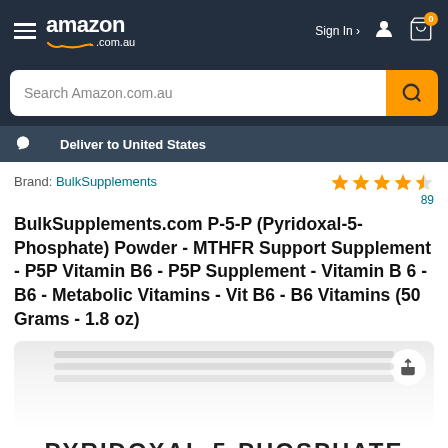amazon.com.au — Sign In — Cart (0)
Search Amazon.com.au
Deliver to United States
Brand: BulkSupplements
[Figure (other): 4.5 out of 5 stars rating, 89 reviews]
BulkSupplements.com P-5-P (Pyridoxal-5-Phosphate) Powder - MTHFR Support Supplement - P5P Vitamin B6 - P5P Supplement - Vitamin B 6 - B6 - Metabolic Vitamins - Vit B6 - B6 Vitamins (50 Grams - 1.8 oz)
[Figure (photo): Product bag image showing PYRIDOXAL-5-PHOSPHATE text on a white/grey resealable bag]